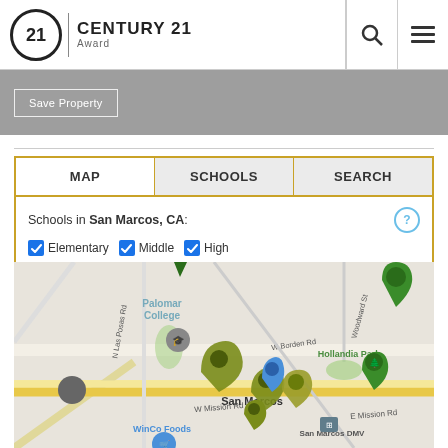[Figure (logo): Century 21 Award real estate logo with circular icon and text]
Century 21 Award — navigation header with search and menu icons
Save Property
MAP  SCHOOLS  SEARCH
Schools in San Marcos, CA:
Elementary  Middle  High
[Figure (map): Google Maps view of San Marcos, CA showing school location pins (olive/green colors), blue property pin, near Palomar College, WinCo Foods, San Marcos DMV, Hollandia Park, W Borden Rd, W Mission Rd, E Mission Rd, N Las Posas Rd, Woodward St]